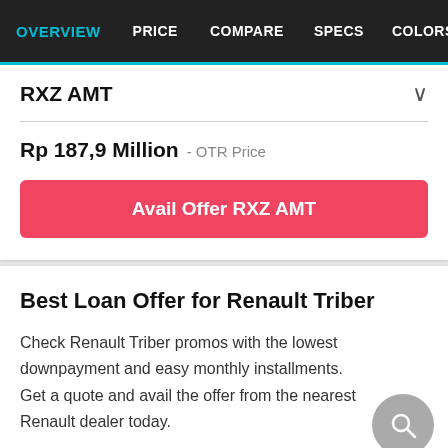OVERVIEW | PRICE | COMPARE | SPECS | COLORS | PICTU
RXZ AMT
Rp 187,9 Million - OTR Price
Avail Offer RXZ AMT
Best Loan Offer for Renault Triber
Check Renault Triber promos with the lowest downpayment and easy monthly installments. Get a quote and avail the offer from the nearest Renault dealer today.
RXZ AMT
Rp 187,9 Million (OTR)